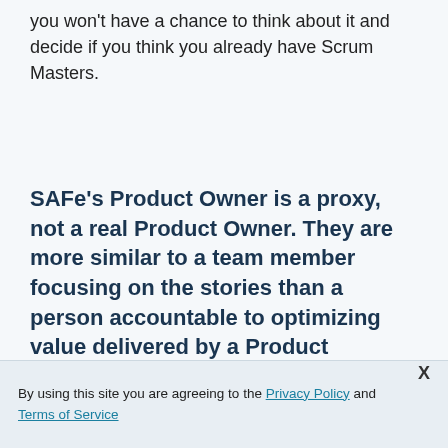you won't have a chance to think about it and decide if you think you already have Scrum Masters.
SAFe's Product Owner is a proxy, not a real Product Owner. They are more similar to a team member focusing on the stories than a person accountable to optimizing value delivered by a Product
By using this site you are agreeing to the Privacy Policy and Terms of Service